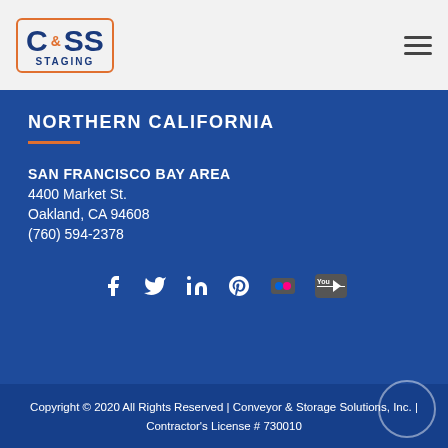[Figure (logo): C&SS Staging company logo in orange border box with blue text]
NORTHERN CALIFORNIA
SAN FRANCISCO BAY AREA
4400 Market St.
Oakland, CA 94608
(760) 594-2378
[Figure (infographic): Social media icons row: Facebook, Twitter, LinkedIn, Pinterest, Flickr, YouTube]
Copyright © 2020 All Rights Reserved | Conveyor & Storage Solutions, Inc. | Contractor's License # 730010